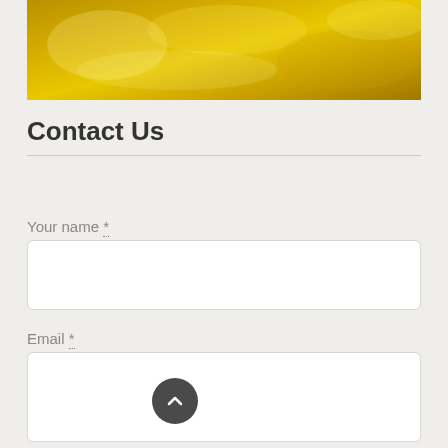[Figure (photo): Golden yellow textured background image, resembling a decorative surface or fabric with warm golden tones]
Contact Us
Your name *
Email *